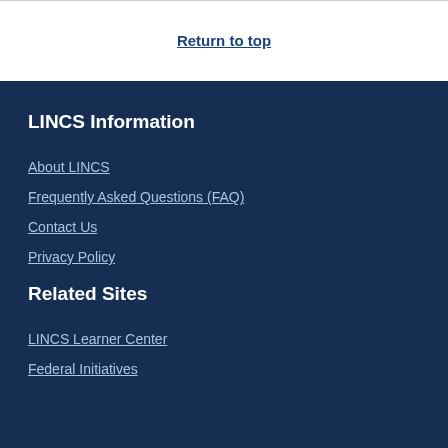Return to top
LINCS Information
About LINCS
Frequently Asked Questions (FAQ)
Contact Us
Privacy Policy
Related Sites
LINCS Learner Center
Federal Initiatives